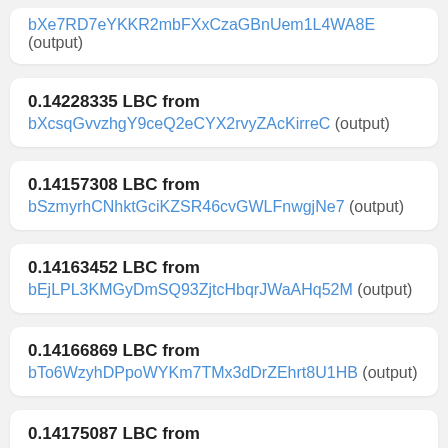bXe7RD7eYKKR2mbFXxCzaGBnUem1L4WA8E (output)
0.14228335 LBC from bXcsqGvvzhgY9ceQ2eCYX2rvyZAcKirreC (output)
0.14157308 LBC from bSzmyrhCNhktGciKZSR46cvGWLFnwgjNe7 (output)
0.14163452 LBC from bEjLPL3KMGyDmSQ93ZjtcHbqrJWaAHq52M (output)
0.14166869 LBC from bTo6WzyhDPpoWYKm7TMx3dDrZEhrt8U1HB (output)
0.14175087 LBC from